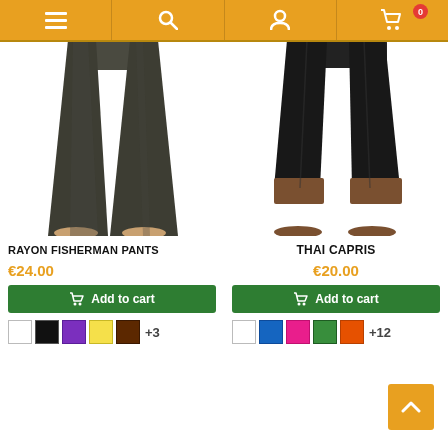Navigation bar with menu, search, account, and cart (0 items) icons
[Figure (photo): Person wearing dark olive/grey wide-leg rayon fisherman pants, lower body view showing legs and bare feet]
RAYON FISHERMAN PANTS
€24.00
Add to cart
Color swatches: white, black, purple, yellow, brown +3
[Figure (photo): Person wearing black wide-leg Thai capri pants, lower body view showing legs and bare feet]
THAI CAPRIS
€20.00
Add to cart
Color swatches: white, blue, pink, green, orange +12